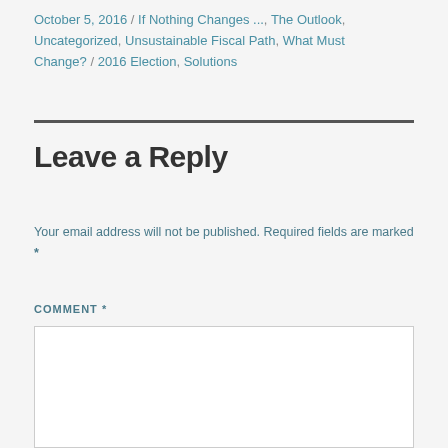October 5, 2016 / If Nothing Changes ..., The Outlook, Uncategorized, Unsustainable Fiscal Path, What Must Change? / 2016 Election, Solutions
Leave a Reply
Your email address will not be published. Required fields are marked *
COMMENT *